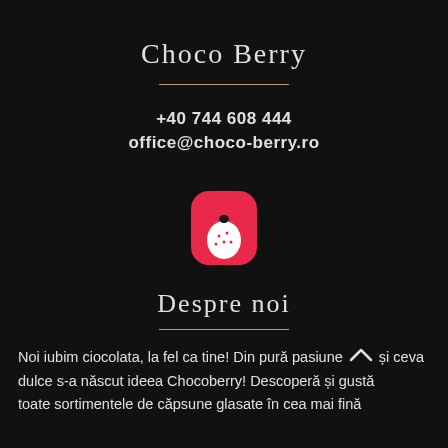Choco Berry
+40 744 608 444
office@choco-berry.ro
[Figure (logo): Choco Berry logo: red rounded square shape with a white strawberry/berry icon inside]
Despre noi
Noi iubim ciocolata, la fel ca tine! Din pură pasiune și ceva dulce s-a născut ideea Chocoberry! Descoperă și gustă toate sortimentele de căpsune glasate în cea mai fină